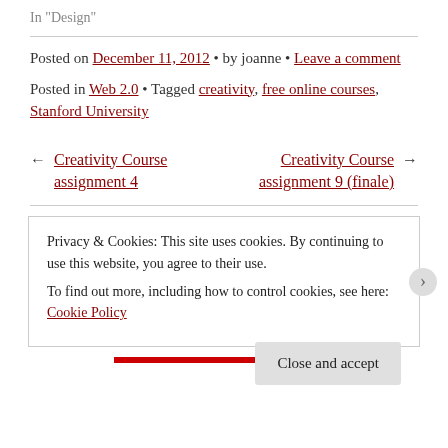In "Design"
Posted on December 11, 2012 • by joanne • Leave a comment
Posted in Web 2.0 • Tagged creativity, free online courses, Stanford University
← Creativity Course assignment 4
Creativity Course assignment 9 (finale) →
Privacy & Cookies: This site uses cookies. By continuing to use this website, you agree to their use.
To find out more, including how to control cookies, see here: Cookie Policy